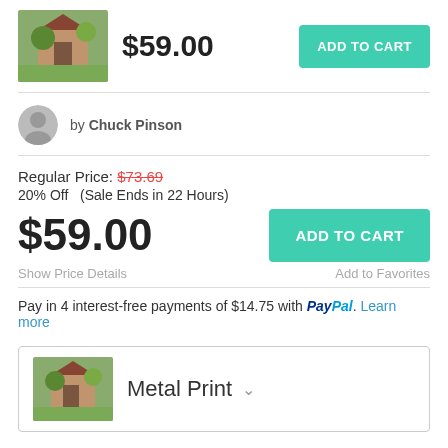[Figure (photo): Thumbnail image of a painting showing a church/cottage with trees, used in top bar]
$59.00
ADD TO CART
[Figure (photo): Small circular author avatar photo of Chuck Pinson]
by Chuck Pinson
Regular Price: $73.69
20% Off   (Sale Ends in 22 Hours)
$59.00
ADD TO CART
Show Price Details
Add to Favorites
Pay in 4 interest-free payments of $14.75 with PayPal. Learn more
[Figure (photo): Thumbnail of the same painting (church/cottage with trees) in the Metal Print product selector]
Metal Print